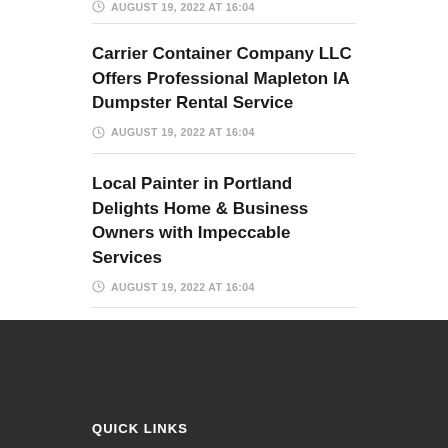AUGUST 19, 2022 AT 16:04
Carrier Container Company LLC Offers Professional Mapleton IA Dumpster Rental Service
AUGUST 19, 2022 AT 16:04
Local Painter in Portland Delights Home & Business Owners with Impeccable Services
AUGUST 19, 2022 AT 16:04
QUICK LINKS